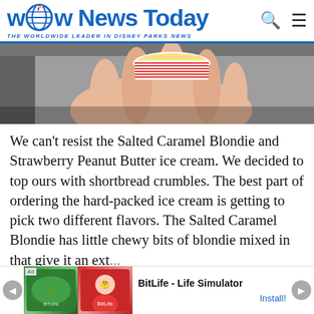[Figure (logo): WDW News Today logo with globe icon and tagline 'THE WORLDWIDE LEADER IN DISNEY PARKS NEWS']
[Figure (photo): A hand holding a circular ice cream container, photographed outdoors with a grey background]
We can't resist the Salted Caramel Blondie and Strawberry Peanut Butter ice cream. We decided to top ours with shortbread crumbles. The best part of ordering the hard-packed ice cream is getting to pick two different flavors. The Salted Caramel Blondie has little chewy bits of blondie mixed in that give it an ext...
[Figure (screenshot): Ad banner for BitLife - Life Simulator app with colorful game imagery and Install button]